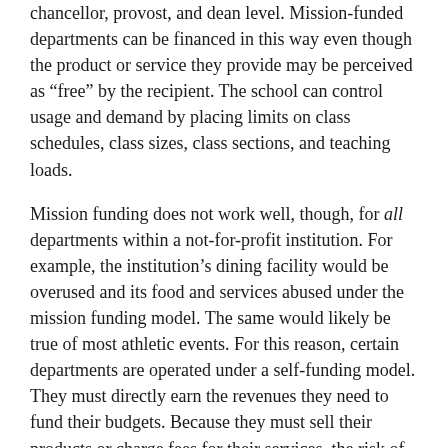chancellor, provost, and dean level. Mission-funded departments can be financed in this way even though the product or service they provide may be perceived as “free” by the recipient. The school can control usage and demand by placing limits on class schedules, class sizes, class sections, and teaching loads.
Mission funding does not work well, though, for all departments within a not-for-profit institution. For example, the institution’s dining facility would be overused and its food and services abused under the mission funding model. The same would likely be true of most athletic events. For this reason, certain departments are operated under a self-funding model. They must directly earn the revenues they need to fund their budgets. Because they must sell their products or charge fees for their services, the risk of customer abuse or overuse is naturally moderated by the economic realities of supply and demand. These self-funded units are classified into two groups: auxiliary enterprises and service